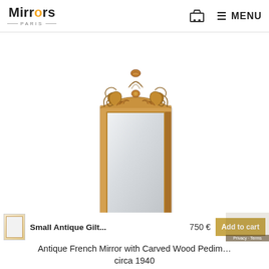Mirrors Paris — MENU
[Figure (photo): Antique French mirror with carved wood pediment circa 1940. Rectangular mirror with warm oak/pine wooden frame and elaborate carved acanthus leaf and scroll decorative pediment at the top. The mirror glass is slightly tinted/aged.]
[Figure (photo): Small thumbnail image of the same mirror product]
Small Antique Gilt...   750 €   Add to cart
Antique French Mirror with Carved Wood Pediment circa 1940